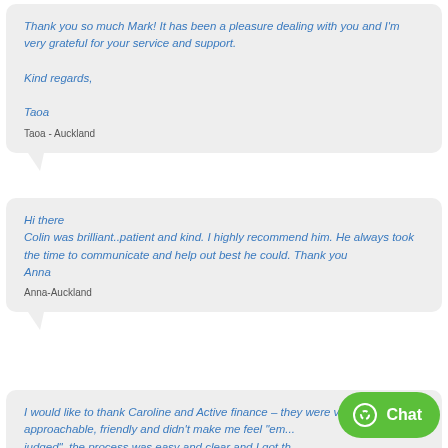Thank you so much Mark! It has been a pleasure dealing with you and I'm very grateful for your service and support.

Kind regards,

Taoa
Taoa - Auckland
Hi there
Colin was brilliant..patient and kind. I highly recommend him. He always took the time to communicate and help out best he could. Thank you
Anna
Anna-Auckland
I would like to thank Caroline and Active finance – they were very approachable, friendly and didn't make me feel "em... judged" the process was easy and clear and I got th... required with no complications. Thanks for your help, Sa...